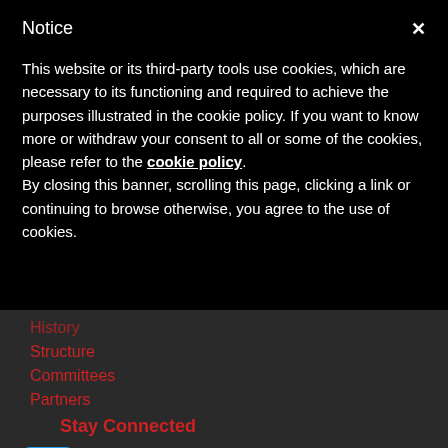Notice
This website or its third-party tools use cookies, which are necessary to its functioning and required to achieve the purposes illustrated in the cookie policy. If you want to know more or withdraw your consent to all or some of the cookies, please refer to the cookie policy.
By closing this banner, scrolling this page, clicking a link or continuing to browse otherwise, you agree to the use of cookies.
History
Structure
Committees
Partners
Stay Connected
Twitter
Youtube